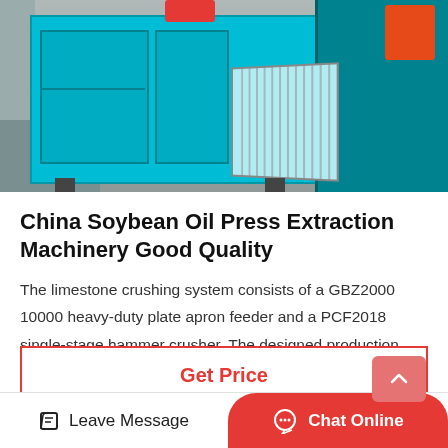[Figure (photo): Photo of a large teal/cyan-colored oil press extraction machine in an industrial setting. The machine has a boxy main body with doors, a red component on top, and a grill/mesh panel on the right side.]
China Soybean Oil Press Extraction Machinery Good Quality
The limestone crushing system consists of a GBZ2000 10000 heavy-duty plate apron feeder and a PCF2018 single-stage hammer crusher. The designed production capacity is 500 t/h, but the actual…
Get Price
Leave Message   Chat Online